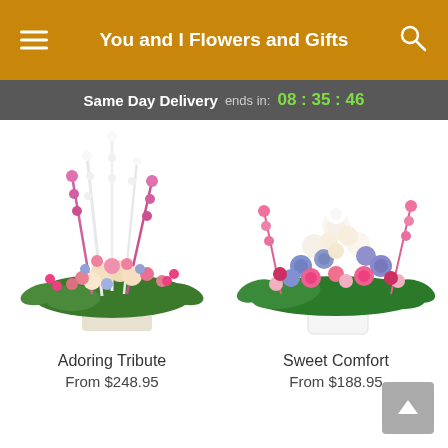You and I Flowers and Gifts
Same Day Delivery ends in: 08 : 35 : 46
[Figure (photo): Adoring Tribute floral arrangement — large pink, cream, and blue flower basket arrangement with tall snapdragons]
Adoring Tribute
From $248.95
[Figure (photo): Sweet Comfort floral arrangement — wide low arrangement of pink, purple, and cream flowers with green foliage in a white pot]
Sweet Comfort
From $188.95